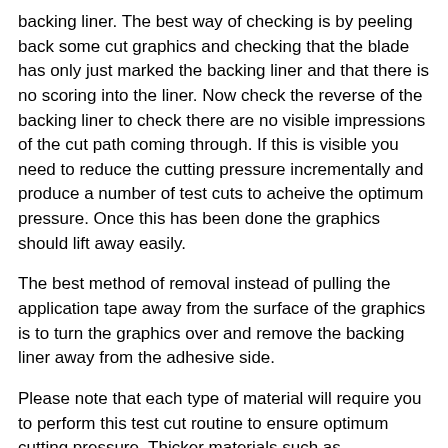backing liner. The best way of checking is by peeling back some cut graphics and checking that the blade has only just marked the backing liner and that there is no scoring into the liner. Now check the reverse of the backing liner to check there are no visible impressions of the cut path coming through. If this is visible you need to reduce the cutting pressure incrementally and produce a number of test cuts to acheive the optimum pressure. Once this has been done the graphics should lift away easily.
The best method of removal instead of pulling the application tape away from the surface of the graphics is to turn the graphics over and remove the backing liner away from the adhesive side.
Please note that each type of material will require you to perform this test cut routine to ensure optimum cutting pressure. Thicker materials such as fluorescents and reflectives as well as some polyester films generally require greater pressure than standard vinyls while thinner materials such as cast vinyls will require less pressure. It may also be neccessary to change the cutting blade for one with a greater angle for sandblast vinyls, reflectives and fluorescents as well as flock materials.